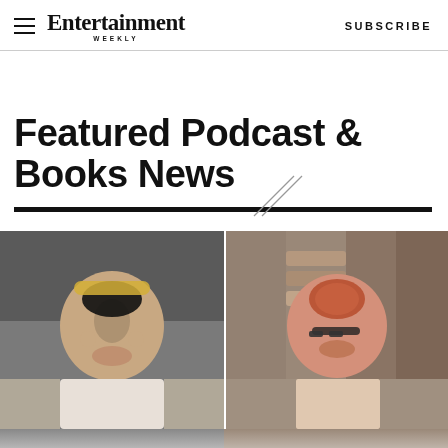Entertainment Weekly — SUBSCRIBE
Featured Podcast & Books News
[Figure (photo): Two-panel image: left panel shows a woman wearing a jeweled tiara with short dark hair; right panel shows a woman with red hair and glasses smiling in front of shelves]